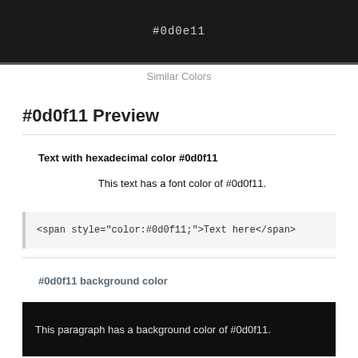[Figure (other): Color swatch showing #0d0e11 dark background with light gray label text]
Similar Colors
#0d0f11 Preview
Text with hexadecimal color #0d0f11
This text has a font color of #0d0f11.
<span style="color:#0d0f11;">Text here</span>
#0d0f11 background color
This paragraph has a background color of #0d0f11.